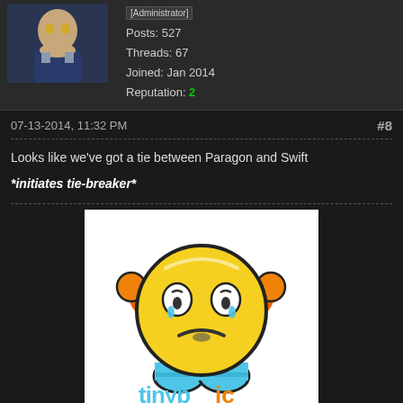[Figure (photo): User avatar showing an anime-style character in dark clothing]
[Administrator]
Posts: 527
Threads: 67
Joined: Jan 2014
Reputation: 2
07-13-2014, 11:32 PM
#8
Looks like we've got a tie between Paragon and Swift
*initiates tie-breaker*
[Figure (illustration): A stressed/worried yellow smiley emoji character with hands on head, above TinyPic logo text]